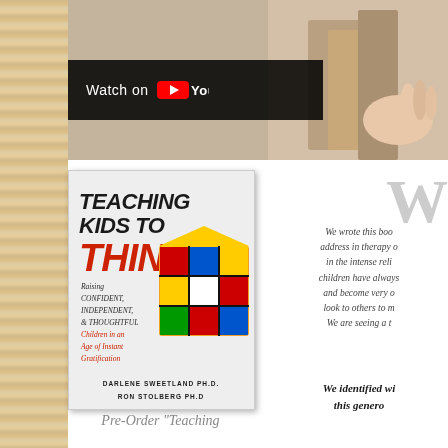[Figure (screenshot): YouTube video thumbnail showing a 'Watch on YouTube' button overlay on a photo of books/learning materials]
[Figure (photo): Book cover: 'Teaching Kids to Think: Raising Confident, Independent, & Thoughtful Children in an Age of Instant Gratification' by Darlene Sweetland Ph.D. and Ron Stolberg Ph.D., featuring a Rubik's cube]
Pre-Order "Teaching
W
We wrote this boo address in therapy o in the intense reli children have always and become very o look to others to m We are seeing a t
We identified wi this genero
We have both be children, adolosce year talking with perspective fro